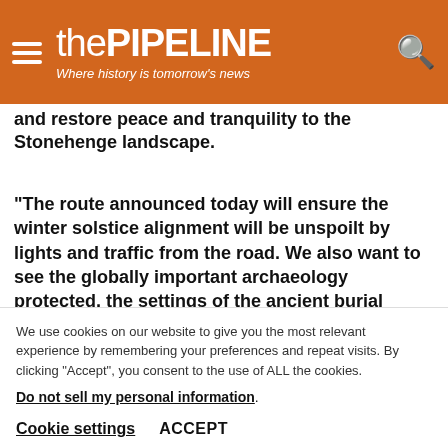thePIPELINE — Where history is tomorrow's news
...and restore peace and tranquility to the Stonehenge landscape.
“The route announced today will ensure the winter solstice alignment will be unspoilt by lights and traffic from the road. We also want to see the globally important archaeology protected, the settings of the ancient burial sites respected and the views between those sites
We use cookies on our website to give you the most relevant experience by remembering your preferences and repeat visits. By clicking “Accept”, you consent to the use of ALL the cookies.
Do not sell my personal information.
Cookie settings   ACCEPT